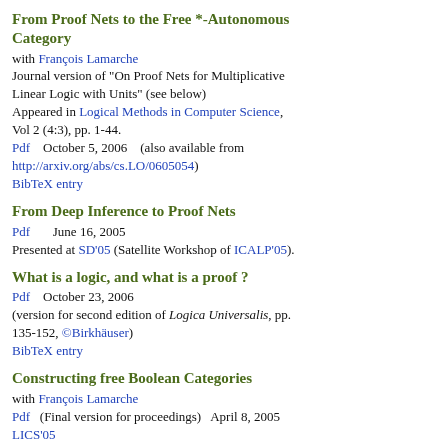From Proof Nets to the Free *-Autonomous Category
with François Lamarche
Journal version of "On Proof Nets for Multiplicative Linear Logic with Units" (see below)
Appeared in Logical Methods in Computer Science, Vol 2 (4:3), pp. 1-44.
Pdf    October 5, 2006    (also available from http://arxiv.org/abs/cs.LO/0605054)
BibTeX entry
From Deep Inference to Proof Nets
Pdf       June 16, 2005
Presented at SD'05 (Satellite Workshop of ICALP'05).
What is a logic, and what is a proof ?
Pdf    October 23, 2006
(version for second edition of Logica Universalis, pp. 135-152, ©Birkhäuser)
BibTeX entry
Constructing free Boolean Categories
with François Lamarche
Pdf   (Final version for proceedings)   April 8, 2005
LICS'05